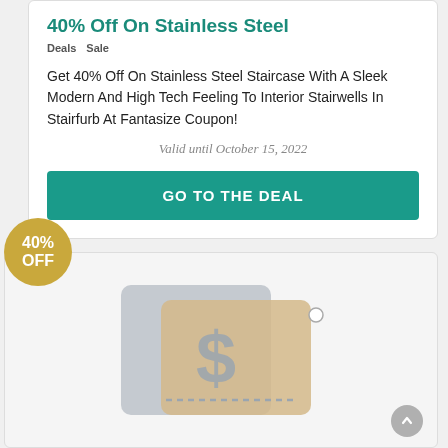40% Off On Stainless Steel
Deals   Sale
Get 40% Off On Stainless Steel Staircase With A Sleek Modern And High Tech Feeling To Interior Stairwells In Stairfurb At Fantasize Coupon!
Valid until October 15, 2022
GO TO THE DEAL
[Figure (illustration): Gold circular badge with '40% OFF' text, and a coupon/price tag illustration with a dollar sign on a gray and beige background]